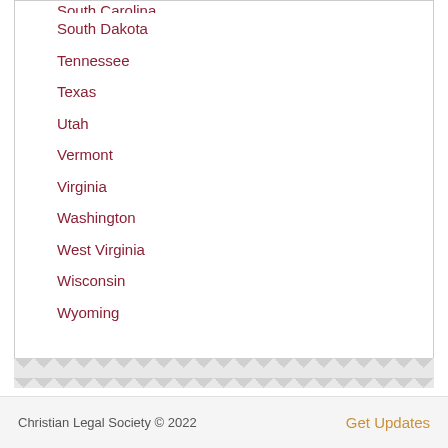South Carolina
South Dakota
Tennessee
Texas
Utah
Vermont
Virginia
Washington
West Virginia
Wisconsin
Wyoming
Christian Legal Society © 2022   Get Updates